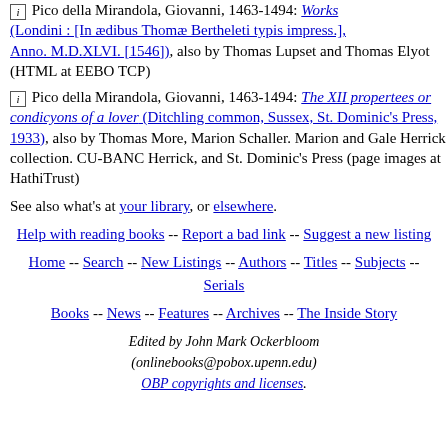Pico della Mirandola, Giovanni, 1463-1494: Works (Londini : [In ædibus Thomæ Bertheleti typis impress.], Anno. M.D.XLVI. [1546]), also by Thomas Lupset and Thomas Elyot (HTML at EEBO TCP)
Pico della Mirandola, Giovanni, 1463-1494: The XII propertees or condicyons of a lover (Ditchling common, Sussex, St. Dominic's Press, 1933), also by Thomas More, Marion Schaller. Marion and Gale Herrick collection. CU-BANC Herrick, and St. Dominic's Press (page images at HathiTrust)
See also what's at your library, or elsewhere.
Help with reading books -- Report a bad link -- Suggest a new listing
Home -- Search -- New Listings -- Authors -- Titles -- Subjects -- Serials
Books -- News -- Features -- Archives -- The Inside Story
Edited by John Mark Ockerbloom (onlinebooks@pobox.upenn.edu) OBP copyrights and licenses.